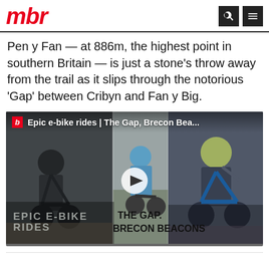mbr
Pen y Fan — at 886m, the highest point in southern Britain — is just a stone's throw away from the trail as it slips through the notorious 'Gap' between Cribyn and Fan y Big.
[Figure (screenshot): Video thumbnail showing mountain bikers on The Gap trail in Brecon Beacons with overlay text 'EPIC E-BIKE RIDES / THE GAP. BRECON BEACONS' and a play button. Title bar reads 'Epic e-bike rides | The Gap, Brecon Bea...']